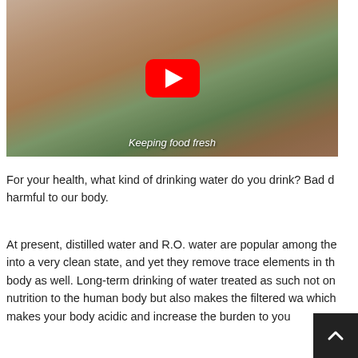[Figure (screenshot): YouTube video thumbnail showing a person holding a glass bowl of fruit (apples, grapes) with a red YouTube play button overlay and text 'Keeping food fresh' at the bottom]
For your health, what kind of drinking water do you drink? Bad d harmful to our body.
At present, distilled water and R.O. water are popular among the into a very clean state, and yet they remove trace elements in th body as well. Long-term drinking of water treated as such not on nutrition to the human body but also makes the filtered wa which makes your body acidic and increase the burden to you